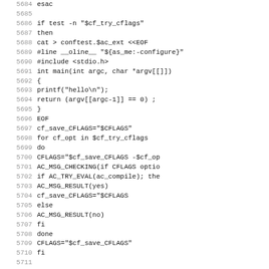Source code listing lines 5684-5715, shell/C code snippet from a configure script